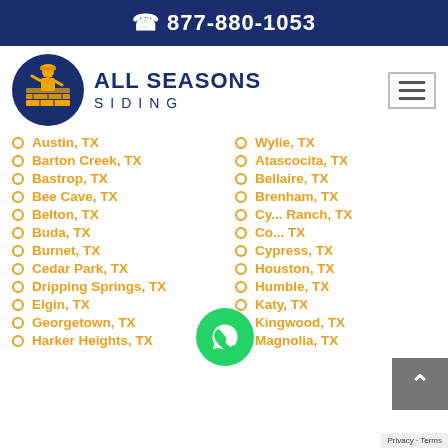☎ 877-880-1053
[Figure (logo): All Seasons Siding logo with circular dark blue badge showing a worker figure, and text ALL SEASONS SIDING beside it]
Austin, TX
Wylie, TX
Barton Creek, TX
Atascocita, TX
Bastrop, TX
Bellaire, TX
Bee Cave, TX
Brenham, TX
Belton, TX
Cy... Ranch, TX
Buda, TX
Co... TX
Burnet, TX
Cypress, TX
Cedar Park, TX
Houston, TX
Dripping Springs, TX
Humble, TX
Elgin, TX
Katy, TX
Georgetown, TX
Kingwood, TX
Harker Heights, TX
Magnolia, TX